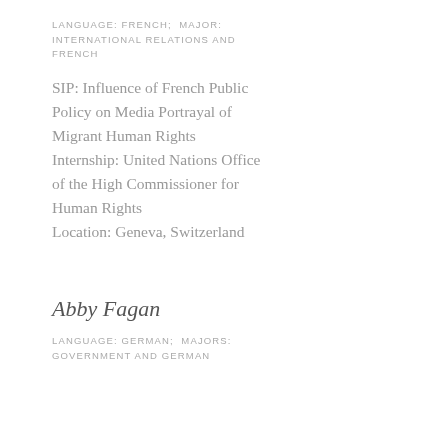LANGUAGE: FRENCH; MAJOR: INTERNATIONAL RELATIONS AND FRENCH
SIP: Influence of French Public Policy on Media Portrayal of Migrant Human Rights Internship: United Nations Office of the High Commissioner for Human Rights Location: Geneva, Switzerland
Abby Fagan
LANGUAGE: GERMAN; MAJORS: GOVERNMENT AND GERMAN